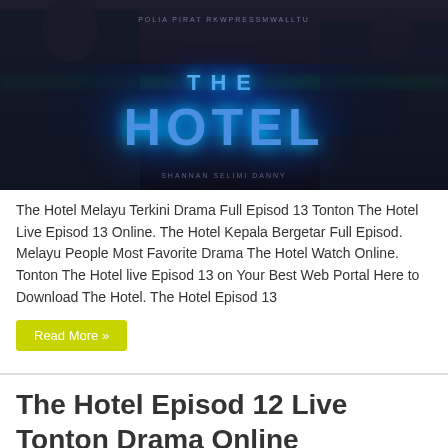[Figure (photo): Movie poster for 'The Hotel' - dark background with two people and glowing blue neon text reading THE HOTEL]
The Hotel Melayu Terkini Drama Full Episod 13 Tonton The Hotel Live Episod 13 Online. The Hotel Kepala Bergetar Full Episod. Melayu People Most Favorite Drama The Hotel Watch Online. Tonton The Hotel live Episod 13 on Your Best Web Portal Here to Download The Hotel. The Hotel Episod 13
Read More »
The Hotel Episod 12 Live Tonton Drama Online
October 4, 2021   The Hotel   0
[Figure (photo): Partial view of another movie/drama screenshot at the bottom of the page]